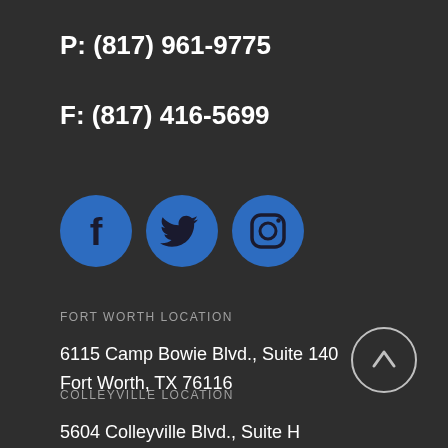P: (817) 961-9775
F: (817) 416-5699
[Figure (illustration): Three blue circular social media icons: Facebook, Twitter, Instagram]
FORT WORTH LOCATION
6115 Camp Bowie Blvd., Suite 140
Fort Worth, TX 76116
[Figure (illustration): Circle with upward arrow scroll-to-top button]
COLLEYVILLE LOCATION
5604 Colleyville Blvd., Suite H
Colleyville, TX 76034